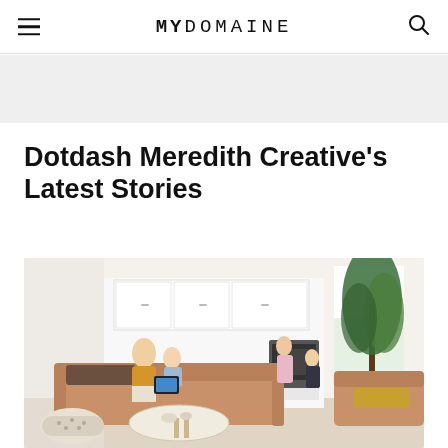MYDOMAINE
Dotdash Meredith Creative’s Latest Stories
[Figure (photo): A bright, modern open-plan living room with a family of four. A man in a yellow sweater and a child sit on a tan sofa looking at a tablet. A woman and child are visible near the kitchen area in the background. A large potted tropical plant stands by an arched window. The kitchen has white cabinets and a built-in oven.]